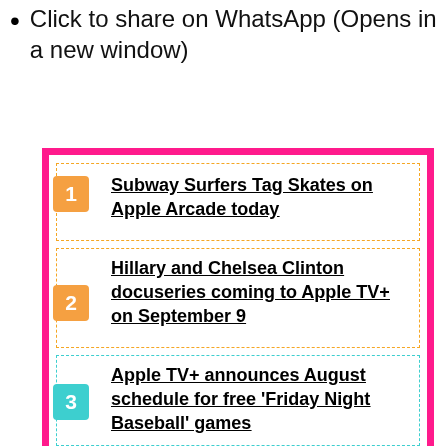Click to share on WhatsApp (Opens in a new window)
Subway Surfers Tag Skates on Apple Arcade today
Hillary and Chelsea Clinton docuseries coming to Apple TV+ on September 9
Apple TV+ announces August schedule for free ‘Friday Night Baseball’ games